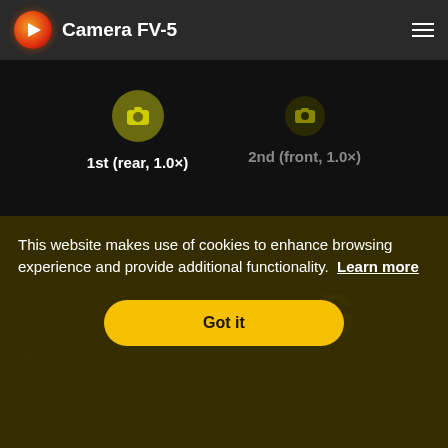Camera FV-5
1st (rear, 1.0×)
2nd (front, 1.0×)
[Figure (screenshot): Camera app interface showing rear and front camera selection options with yellow camera icons on dark background. Background text shows '15:9', 'JPEG/DNG', and a large 'G'. Labels 'Megapixels' and 'Picture format' visible at bottom.]
This website makes use of cookies to enhance browsing experience and provide additional functionality.  Learn more
Got it